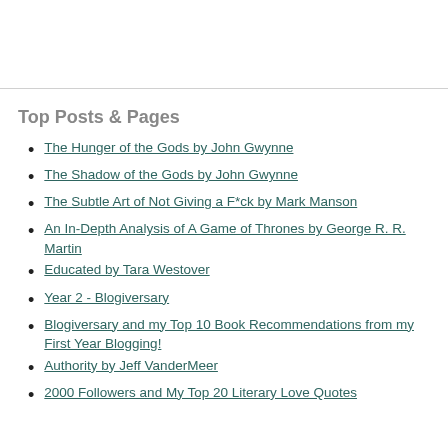Top Posts & Pages
The Hunger of the Gods by John Gwynne
The Shadow of the Gods by John Gwynne
The Subtle Art of Not Giving a F*ck by Mark Manson
An In-Depth Analysis of A Game of Thrones by George R. R. Martin
Educated by Tara Westover
Year 2 - Blogiversary
Blogiversary and my Top 10 Book Recommendations from my First Year Blogging!
Authority by Jeff VanderMeer
2000 Followers and My Top 20 Literary Love Quotes